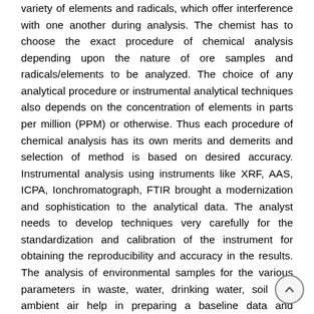variety of elements and radicals, which offer interference with one another during analysis. The chemist has to choose the exact procedure of chemical analysis depending upon the nature of ore samples and radicals/elements to be analyzed. The choice of any analytical procedure or instrumental analytical techniques also depends on the concentration of elements in parts per million (PPM) or otherwise. Thus each procedure of chemical analysis has its own merits and demerits and selection of method is based on desired accuracy. Instrumental analysis using instruments like XRF, AAS, ICPA, Ionchromatograph, FTIR brought a modernization and sophistication to the analytical data. The analyst needs to develop techniques very carefully for the standardization and calibration of the instrument for obtaining the reproducibility and accuracy in the results. The analysis of environmental samples for the various parameters in waste, water, drinking water, soil and ambient air help in preparing a baseline data and environmental management plans for the mines. The methods based on ISI procedures and using modern sophisticated instruments have been selected and